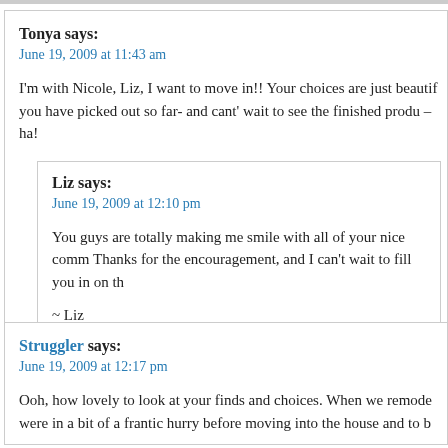Tonya says:
June 19, 2009 at 11:43 am
I'm with Nicole, Liz, I want to move in!! Your choices are just beautif you have picked out so far- and cant' wait to see the finished produ – ha!
Liz says:
June 19, 2009 at 12:10 pm
You guys are totally making me smile with all of your nice comm Thanks for the encouragement, and I can't wait to fill you in on th
~ Liz
Struggler says:
June 19, 2009 at 12:17 pm
Ooh, how lovely to look at your finds and choices. When we remode were in a bit of a frantic hurry before moving into the house and to b